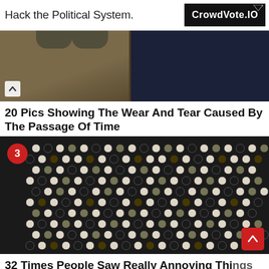Hack the Political System.
[Figure (logo): CrowdVote.IO advertisement logo on black background]
[Figure (photo): Photo showing worn shoes on wooden floorboards next to a dark navy wall, with a chevron/up arrow navigation button]
20 Pics Showing The Wear And Tear Caused By The Passage Of Time
[Figure (photo): Photo of a decorative black and white hexagonal penny tile floor pattern with green flower accents, with a red badge showing number 3]
32 Times People Saw Really Annoying Things And Just Had To Sh...